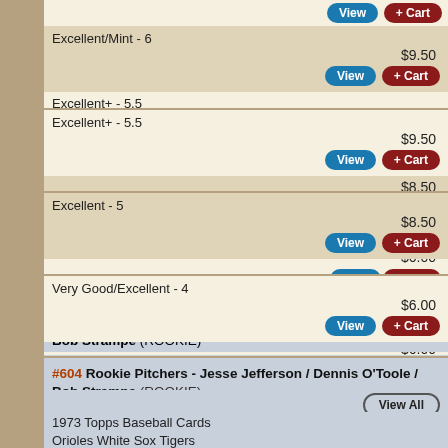Excellent/Mint - 6, $9.50
Excellent+ - 5.5, $9.50
Excellent - 5, $8.50
Very Good/Excellent - 4, $6.00
#604 Rookie Pitchers - Jesse Jefferson / Dennis O'Toole / Bob Strampe (ROOKIE)
1973 Topps Baseball Cards
Orioles White Sox Tigers
PSA 9 - MINT, $150.00, $135 after 10% discount
PSA 8 - NMMT